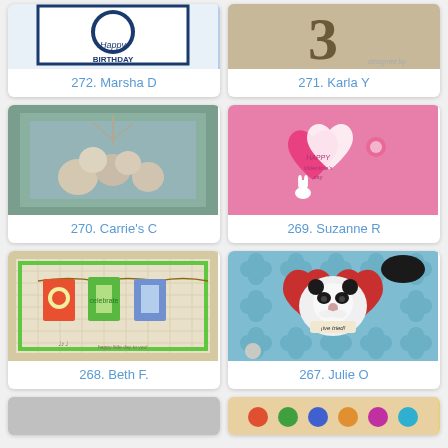[Figure (photo): Card with Happy Birthday text, blue circular design]
272. Marsha D
[Figure (photo): Wooden number 3 on beige/tan background]
271. Karla Y
[Figure (photo): Decorative card with flowers and blue striped background in teal frame]
270. Carrie's C
[Figure (photo): Pink Valentine card with heart die cuts and floral embellishments]
269. Suzanne R
[Figure (photo): Card with bunting banners on grid background, colorful pennants]
268. Beth F.
[Figure (photo): Blue and red card with panda in heart design, quatrefoil pattern]
267. Julie O
[Figure (photo): Partially visible gray card at bottom left]
[Figure (photo): Partially visible colorful card at bottom right]